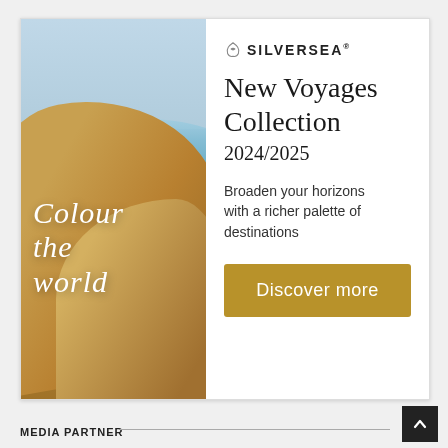[Figure (photo): Silversea luxury cruise advertisement showing desert sand dunes meeting the ocean on the left panel, with script text 'Colour the world' overlaid. Right panel shows Silversea branding, 'New Voyages Collection 2024/2025', descriptive text, and a gold 'Discover more' button.]
MEDIA PARTNER